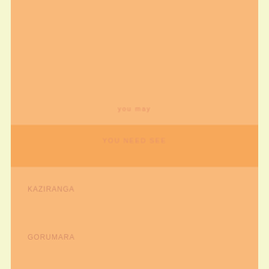you may
YOU NEED SEE
KAZIRANGA
GORUMARA